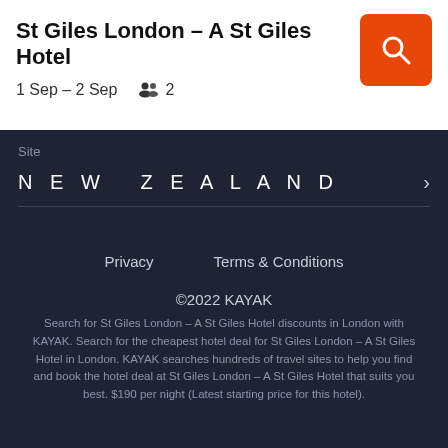St Giles London – A St Giles Hotel
1 Sep – 2 Sep   2
Site
NEW ZEALAND
Privacy    Terms & Conditions
©2022 KAYAK
Search for St Giles London – A St Giles Hotel discounts in London with KAYAK. Search for the cheapest hotel deal for St Giles London – A St Giles Hotel in London. KAYAK searches hundreds of travel sites to help you find and book the hotel deal at St Giles London – A St Giles Hotel that suits you best. $190 per night (Latest starting price for this hotel).